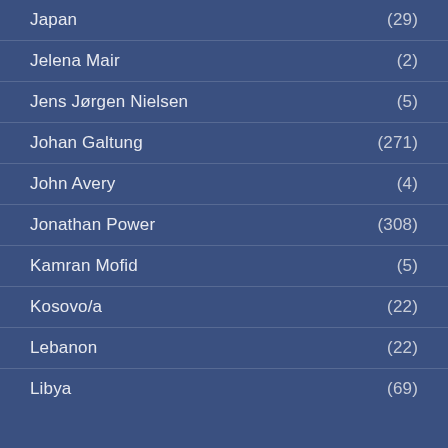Japan (29)
Jelena Mair (2)
Jens Jørgen Nielsen (5)
Johan Galtung (271)
John Avery (4)
Jonathan Power (308)
Kamran Mofid (5)
Kosovo/a (22)
Lebanon (22)
Libya (69)